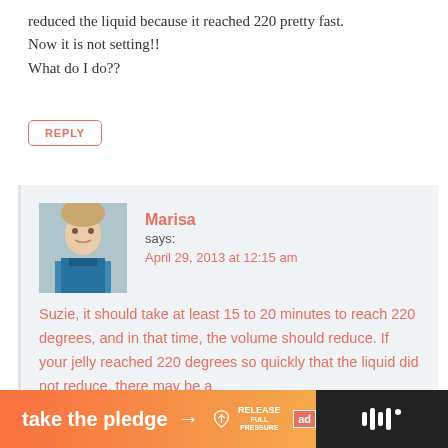reduced the liquid because it reached 220 pretty fast. Now it is not setting!! What do I do??
REPLY
Marisa
says:
April 29, 2013 at 12:15 am
[Figure (photo): Profile photo of Marisa, a woman wearing a blue cardigan]
Suzie, it should take at least 15 to 20 minutes to reach 220 degrees, and in that time, the volume should reduce. If your jelly reached 220 degrees so quickly that the liquid did not reduce, there may be a
[Figure (infographic): Advertisement banner: 'take the pledge' with arrow, Release logo, ad marker, and dark panel with sound wave icon]